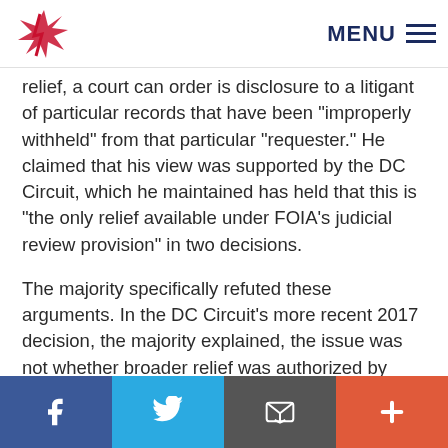MENU [hamburger icon] [logo]
relief, a court can order is disclosure to a litigant of particular records that have been “improperly withheld” from that particular “requester.” He claimed that his view was supported by the DC Circuit, which he maintained has held that this is “the only relief available under FOIA’s judicial review provision” in two decisions.
The majority specifically refuted these arguments. In the DC Circuit’s more recent 2017 decision, the majority explained, the issue was not whether broader relief was authorized by FOIA itself, but whether it could be ordered based on the “equitable authority” of a court, which the DC Circuit rejected
Facebook | Twitter | Email | +